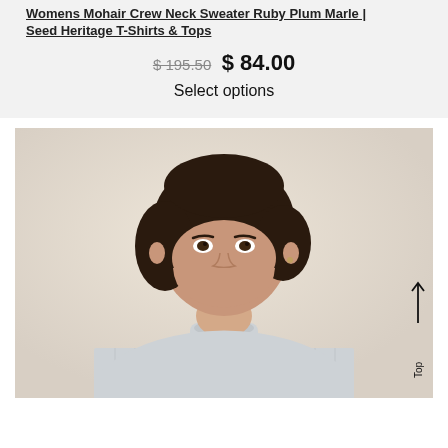Womens Mohair Crew Neck Sweater Ruby Plum Marle | Seed Heritage T-Shirts & Tops
$ 195.50  $ 84.00
Select options
[Figure (photo): A woman with a short dark bob haircut wearing a light grey ribbed mock-neck sweater, photographed against a warm beige background. She is shown from approximately the waist up.]